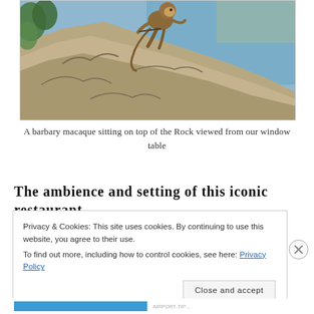[Figure (photo): A barbary macaque (monkey) sitting on rocky cliffs at the top of the Rock of Gibraltar, with blue sea visible in the background and some green foliage on the left.]
A barbary macaque sitting on top of the Rock viewed from our window table
The ambience and setting of this iconic restaurant
Privacy & Cookies: This site uses cookies. By continuing to use this website, you agree to their use.
To find out more, including how to control cookies, see here: Privacy Policy